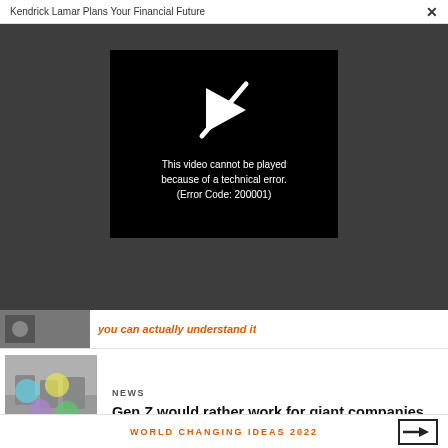Kendrick Lamar Plans Your Financial Future  ✕
[Figure (screenshot): Dark gray video player overlay with embedded black video player box showing a broken/unavailable video icon (stylized play arrow with line through it) and error message text: 'This video cannot be played because of a technical error. (Error Code: 200001)']
This video cannot be played because of a technical error. (Error Code: 200001)
[Figure (photo): Cropped thumbnail of a news article image — black and white photo of people around a table with colorful circles overlaid (cyan, yellow, purple, green, pink)]
you can actually understand it
NEWS
Gen Z would rather work for giant companies, thank you very much
WORLD CHANGING IDEAS 2022